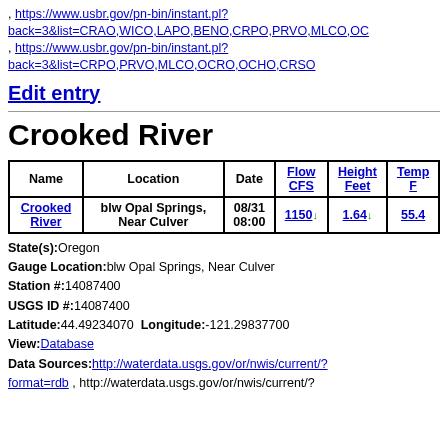, https://www.usbr.gov/pn-bin/instant.pl?back=3&list=CRAO,WICO,LAPO,BENO,CRPO,PRVO,MLCO,OC , https://www.usbr.gov/pn-bin/instant.pl?back=3&list=CRPO,PRVO,MLCO,OCRO,OCHO,CRSO
Edit entry
Crooked River
| Name | Location | Date | Flow CFS | Height Feet | Temp F |
| --- | --- | --- | --- | --- | --- |
| Crooked River | blw Opal Springs, Near Culver | 08/31 08:00 | 1150↓ | 1.64↓ | 55.4 |
State(s): Oregon
Gauge Location: blw Opal Springs, Near Culver
Station #: 14087400
USGS ID #: 14087400
Latitude: 44.49234070  Longitude: -121.29837700
View: Database
Data Sources: http://waterdata.usgs.gov/or/nwis/current/?format=rdb , http://waterdata.usgs.gov/or/nwis/current/?